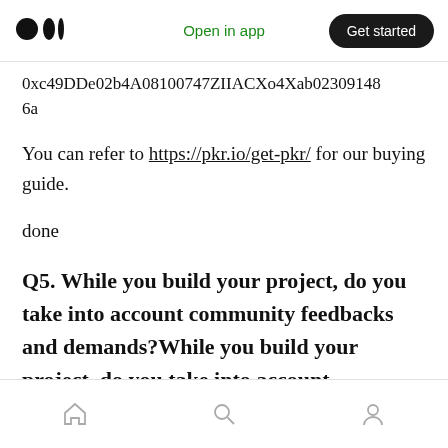Open in app | Get started
0xc49DDe02b4A08100747ZIIACXo4Xab02309148 6a
You can refer to https://pkr.io/get-pkr/ for our buying guide.
done
Q5. While you build your project, do you take into account community feedbacks and demands?While you build your project, do you take into account community feedbacks and demands?
Home | Search | Profile